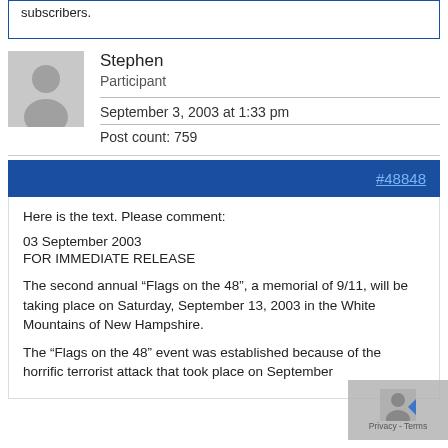subscribers.
Stephen
Participant
September 3, 2003 at 1:33 pm
Post count: 759
#48848
Here is the text. Please comment:

03 September 2003
FOR IMMEDIATE RELEASE

The second annual “Flags on the 48”, a memorial of 9/11, will be taking place on Saturday, September 13, 2003 in the White Mountains of New Hampshire.

The “Flags on the 48” event was established because of the horrific terrorist attack that took place on September